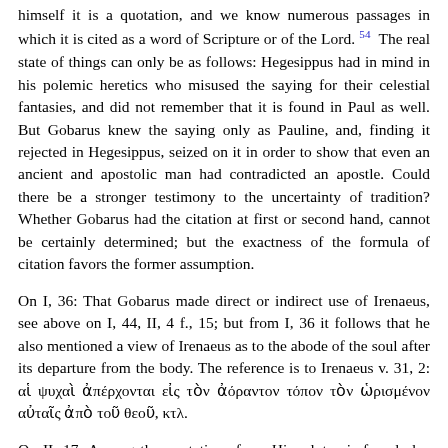himself it is a quotation, and we know numerous passages in which it is cited as a word of Scripture or of the Lord.[54] The real state of things can only be as follows: Hegesippus had in mind in his polemic heretics who misused the saying for their celestial fantasies, and did not remember that it is found in Paul as well. But Gobarus knew the saying only as Pauline, and, finding it rejected in Hegesippus, seized on it in order to show that even an ancient and apostolic man had contradicted an apostle. Could there be a stronger testimony to the uncertainty of tradition? Whether Gobarus had the citation at first or second hand, cannot be certainly determined; but the exactness of the formula of citation favors the former assumption.
On I, 36: That Gobarus made direct or indirect use of Irenaeus, see above on I, 44, II, 4 f., 15; but from I, 36 it follows that he also mentioned a view of Irenaeus as to the abode of the soul after its departure from the body. The reference is to Irenaeus v. 31, 2: αἱ ψυχαὶ ἀπέρχονται εἰς τὸν ἀόραντον τόπον τὸν ὡρισμένον αὐταῖς ἀπὸ τοῦ θεοῦ, κτλ.
On II, 17: Among the quotations from Hippolytus is found also his judgment on Montanism, at least it is stated that this was different from that of Gregory of Nyssa. Since Gregory, like Basil, did not concede the validity of the Montanists' baptism, Hippolytus must have acknowledged it, which, in the light of Refutatio viii. 19, is